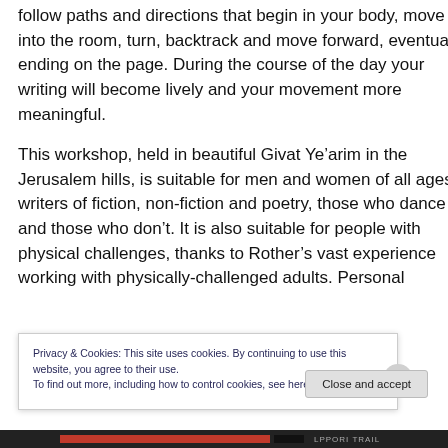follow paths and directions that begin in your body, move into the room, turn, backtrack and move forward, eventually ending on the page. During the course of the day your writing will become lively and your movement more meaningful.
This workshop, held in beautiful Givat Ye’arim in the Jerusalem hills, is suitable for men and women of all ages, writers of fiction, non-fiction and poetry, those who dance and those who don’t. It is also suitable for people with physical challenges, thanks to Rother’s vast experience working with physically-challenged adults. Personal
Privacy & Cookies: This site uses cookies. By continuing to use this website, you agree to their use.
To find out more, including how to control cookies, see here: Cookie Policy
Close and accept